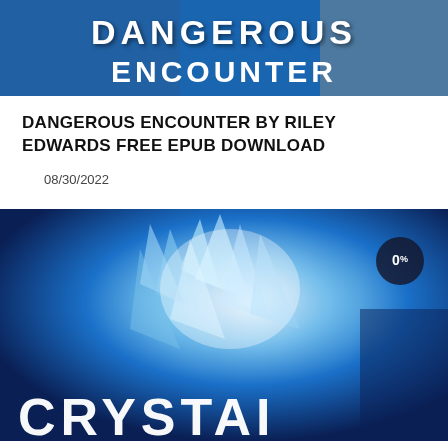[Figure (illustration): Top portion of a book cover for 'Dangerous Encounter' showing bold white text on a blue background]
DANGEROUS ENCOUNTER BY RILEY EDWARDS FREE EPUB DOWNLOAD
08/30/2022
[Figure (illustration): Book cover showing a fantasy/sci-fi crystal-themed image in blues and whites with large text 'CRYSTAL' at the bottom and a '0%' badge in the upper right]